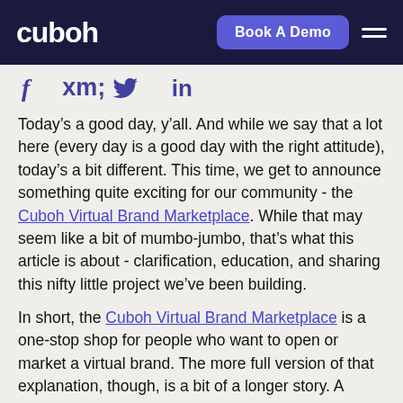cuboh | Book A Demo
[Figure (logo): Social sharing icons: Facebook (f), Twitter (bird), LinkedIn (in)]
Today’s a good day, y’all. And while we say that a lot here (every day is a good day with the right attitude), today’s a bit different. This time, we get to announce something quite exciting for our community - the Cuboh Virtual Brand Marketplace. While that may seem like a bit of mumbo-jumbo, that’s what this article is about - clarification, education, and sharing this nifty little project we’ve been building.
In short, the Cuboh Virtual Brand Marketplace is a one-stop shop for people who want to open or market a virtual brand. The more full version of that explanation, though, is a bit of a longer story. A whole article, one might say...